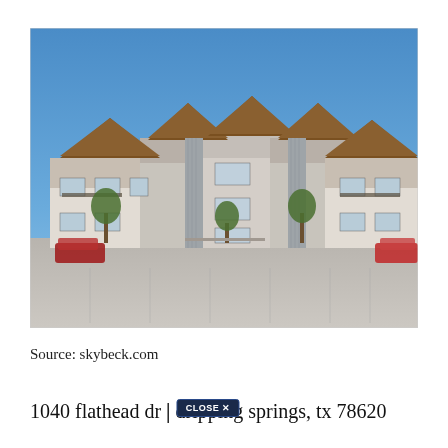[Figure (photo): Exterior photo of a modern multi-story apartment complex with stone and metal siding facade, angled roof elements, balconies, and a parking lot in front, under a clear blue sky. Located at 1040 Flathead Dr, Dripping Springs, TX.]
Source: skybeck.com
1040 flathead dr | dripping springs, tx 78620